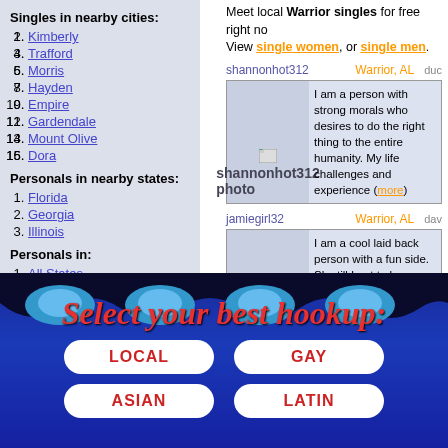Meet local Warrior singles for free right now. View single women, or single men.
Singles in nearby cities:
1. Kimberly
2. Trafford
3. Morris
4. Hayden
5. Empire
6. Gardendale
7. Mount Olive
8. Dora
Personals in nearby states:
1. Florida
2. Georgia
3. Illinois
Personals in:
1. All States
2. All Canadian Cities
Singles by Category
shannonhot312  Warrior, AL
I am a person with strong morals who desires to do the right thing to the entire humanity. My life challenges and experience (more)
jamiegirl32  Warrior, AL
I am a cool laid back person with a fun side. Shy till I get to know you. OK if you are more then 50 miles away don't bother (more)
tyeshajohnson  Warrior, AL
[Figure (infographic): Select your best hookup banner with LOCAL, GAY, ASIAN, LATIN buttons on a blue decorative background with red cursive text]